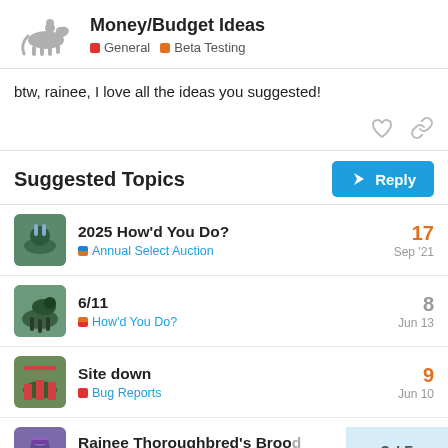Money/Budget Ideas — General, Beta Testing
btw, rainee, I love all the ideas you suggested!
Suggested Topics
2025 How'd You Do? — Annual Select Auction — 17 replies — Sep '21
6/11 — How'd You Do? — 8 replies — Jun 13
Site down — Bug Reports — 9 replies — Jun 10
Rainee Thoroughbred's Brood Prospect Auction — 3/5